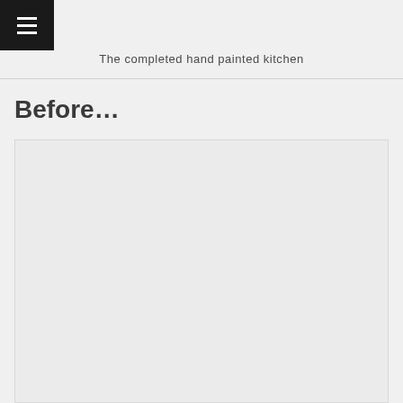☰
The completed hand painted kitchen
Before…
[Figure (photo): A large placeholder/blank image area representing a 'Before' photo of a kitchen, shown as a light gray rectangle.]